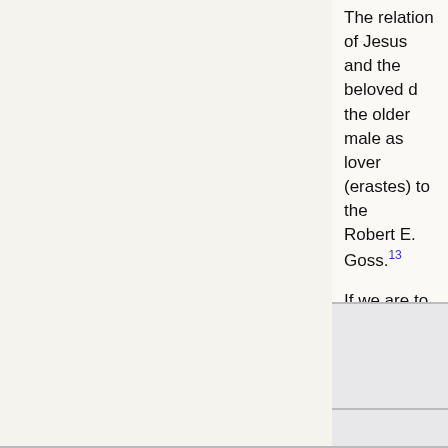The relation of Jesus and the beloved d[isciple mirrors] the older male as lover (erastes) to the [younger]... Robert E. Goss.13 If we are to follow the plain sense of the [text, Jesus was his] lover." Keith Sharpe14